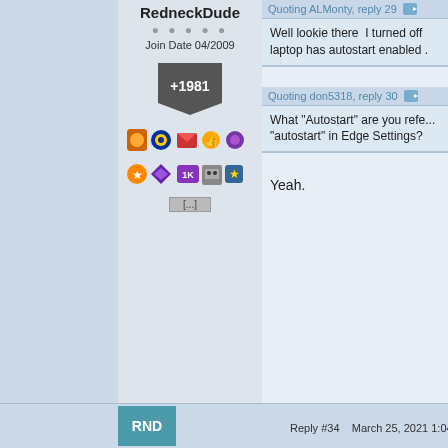RedneckDude
Join Date 04/2009
+1981
Quoting ALMonty, reply 29
Well lookie there  I turned off laptop has autostart enabled .
Quoting don5318, reply 30
What "Autostart" are you refe... "autostart" in Edge Settings?
Yeah.
Reply #34    March 25, 2021 1:04